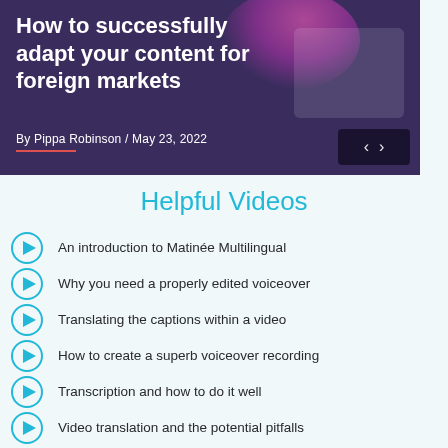[Figure (screenshot): Hero banner with dark purple background showing article title 'How to successfully adapt your content for foreign markets' by Pippa Robinson, May 23, 2022, with decorative graphic and navigation arrows]
Helpful Videos
An introduction to Matinée Multilingual
Why you need a properly edited voiceover
Translating the captions within a video
How to create a superb voiceover recording
Transcription and how to do it well
Video translation and the potential pitfalls
Auto captions and...